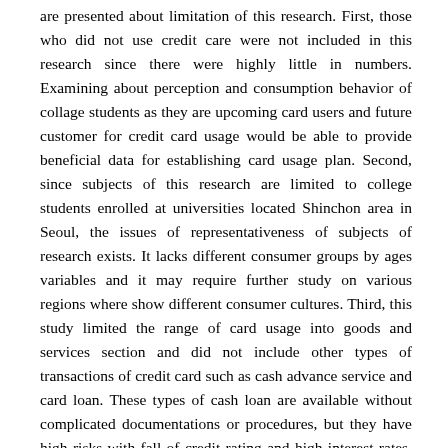are presented about limitation of this research. First, those who did not use credit care were not included in this research since there were highly little in numbers. Examining about perception and consumption behavior of collage students as they are upcoming card users and future customer for credit card usage would be able to provide beneficial data for establishing card usage plan. Second, since subjects of this research are limited to college students enrolled at universities located Shinchon area in Seoul, the issues of representativeness of subjects of research exists. It lacks different consumer groups by ages variables and it may require further study on various regions where show different consumer cultures. Third, this study limited the range of card usage into goods and services section and did not include other types of transactions of credit card such as cash advance service and card loan. These types of cash loan are available without complicated documentations or procedures, but they have high risks with fall of credit rating and high interest rates, therefore, it could bring significant harms and risk to college students. It deems to require a further study on this subject. Fourth, this study is based on assumption that credit card and check card is the same one type of credit card. This also caused limitation on